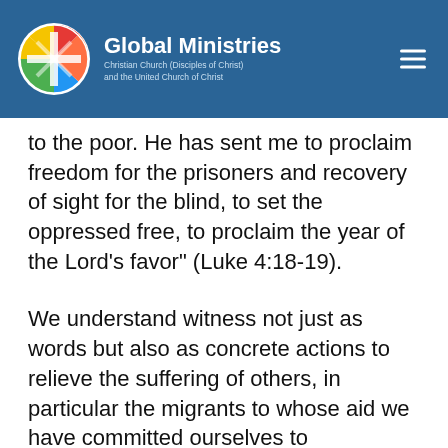[Figure (logo): Global Ministries logo: circular multicolor icon on left, bold white text 'Global Ministries' with subtitle 'Christian Church (Disciples of Christ) and the United Church of Christ' on blue header background. Hamburger menu icon top right.]
to the poor. He has sent me to proclaim freedom for the prisoners and recovery of sight for the blind, to set the oppressed free, to proclaim the year of the Lord’s favor” (Luke 4:18-19).
We understand witness not just as words but also as concrete actions to relieve the suffering of others, in particular the migrants to whose aid we have committed ourselves to